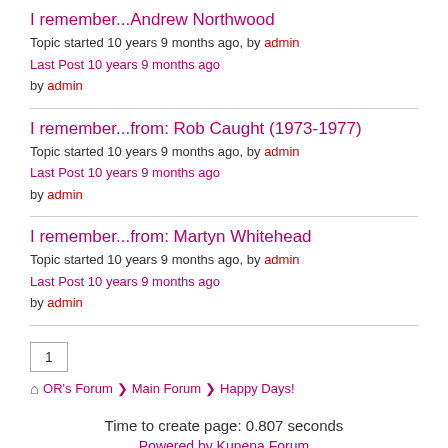I remember...Andrew Northwood
Topic started 10 years 9 months ago, by admin
Last Post 10 years 9 months ago
by admin
I remember...from: Rob Caught (1973-1977)
Topic started 10 years 9 months ago, by admin
Last Post 10 years 9 months ago
by admin
I remember...from: Martyn Whitehead
Topic started 10 years 9 months ago, by admin
Last Post 10 years 9 months ago
by admin
1
OR's Forum > Main Forum > Happy Days!
Time to create page: 0.807 seconds
Powered by Kunena Forum